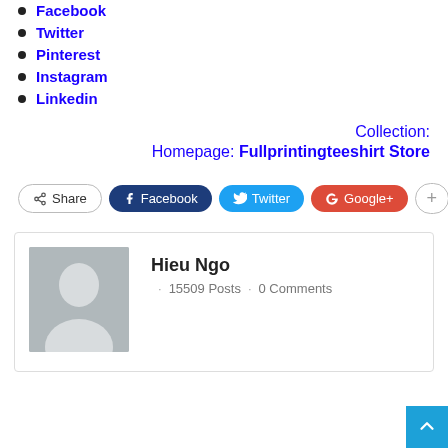Facebook
Twitter
Pinterest
Instagram
Linkedin
Collection:
Homepage: Fullprintingteeshirt Store
[Figure (screenshot): Social share buttons: Share, Facebook, Twitter, Google+, and a plus button]
Hieu Ngo · 15509 Posts · 0 Comments